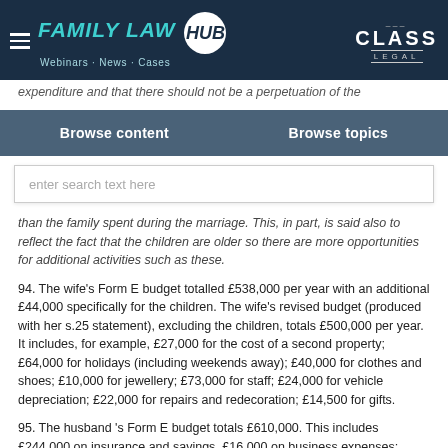FAMILY LAW HUB — Webinars · News · Cases | CLASS LEGAL
expenditure and that there should not be a perpetuation of the
Browse content   Browse topics
enter search text here
than the family spent during the marriage. This, in part, is said also to reflect the fact that the children are older so there are more opportunities for additional activities such as these.
94. The wife's Form E budget totalled £538,000 per year with an additional £44,000 specifically for the children. The wife's revised budget (produced with her s.25 statement), excluding the children, totals £500,000 per year. It includes, for example, £27,000 for the cost of a second property; £64,000 for holidays (including weekends away); £40,000 for clothes and shoes; £10,000 for jewellery; £73,000 for staff; £24,000 for vehicle depreciation; £22,000 for repairs and redecoration; £14,500 for gifts.
95. The husband's Form E budget totals £610,000. This includes £244,000 on insurance and savings, £16,000 on business expenses; £67,000 on professional fees and £40,000 on school fees. If these are excluded, the total is approximately £240,000. The